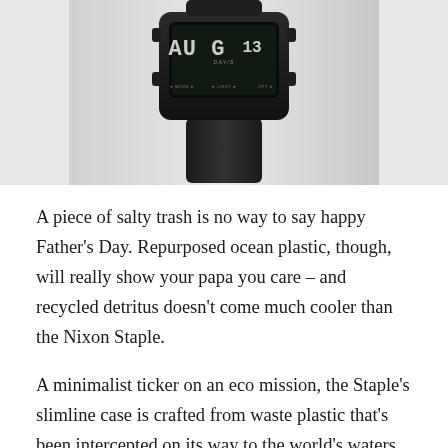[Figure (photo): Black Nixon Staple digital watch showing AUG 13 on the display, with black band on a light grey background]
A piece of salty trash is no way to say happy Father's Day. Repurposed ocean plastic, though, will really show your papa you care – and recycled detritus doesn't come much cooler than the Nixon Staple.
A minimalist ticker on an eco mission, the Staple's slimline case is crafted from waste plastic that's been intercepted on its way to the world's waters.